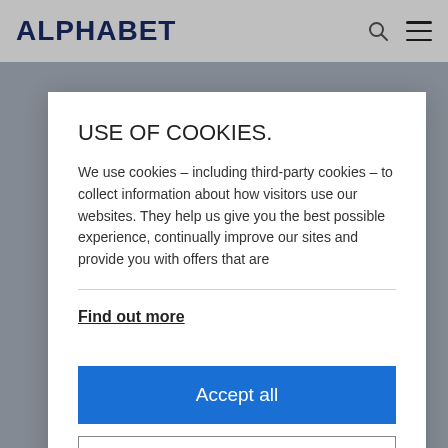ALPHABET
USE OF COOKIES.
We use cookies – including third-party cookies – to collect information about how visitors use our websites. They help us give you the best possible experience, continually improve our sites and provide you with offers that are
Find out more
Accept all
Reject All